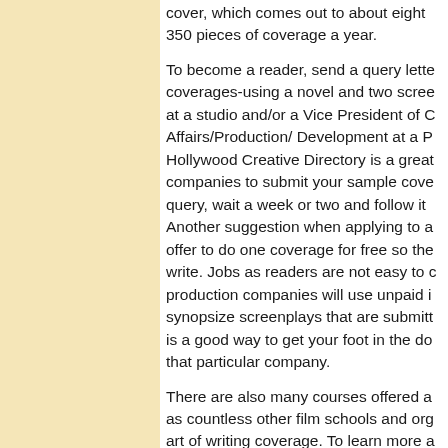cover, which comes out to about eight 350 pieces of coverage a year.
To become a reader, send a query letter coverages-using a novel and two screenplays at a studio and/or a Vice President of Creative Affairs/Production/ Development at a Production company. Hollywood Creative Directory is a great resource. companies to submit your sample coverages with your query, wait a week or two and follow it up with a call. Another suggestion when applying to agencies is to offer to do one coverage for free so they can see how you write. Jobs as readers are not easy to come by, as production companies will use unpaid interns to read and synopsize screenplays that are submitted to them, but it is a good way to get your foot in the door with that particular company.
There are also many courses offered at USC as well as countless other film schools and organizations on the art of writing coverage. To learn more about coverage, ESE Film Workshops Online offer workshops on the development process that explains how coverage works in depth. Our book, I Liked It, Didn't Love It (Screenplay Development From The Inside Out) also has instruction on how to write coverage and